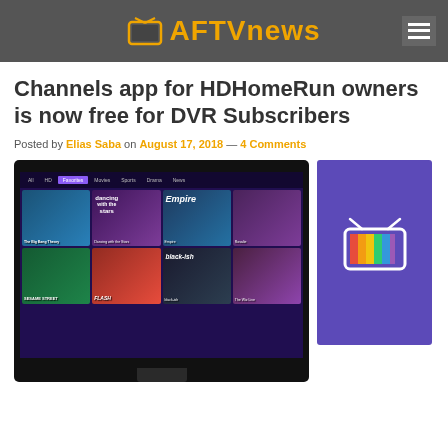AFTVnews
Channels app for HDHomeRun owners is now free for DVR Subscribers
Posted by Elias Saba on August 17, 2018 — 4 Comments
[Figure (screenshot): Screenshot of the Channels app interface on a TV screen showing a grid of TV show thumbnails including Big Bang Theory, Dancing with the Stars, Empire, The Flash, Sesame Street, and Blackish, alongside the AFTVnews logo on a purple background]